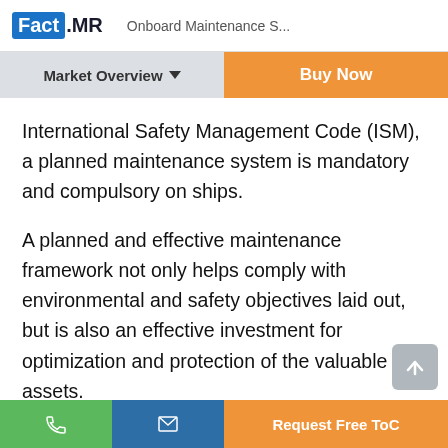Fact.MR Onboard Maintenance S...
Market Overview
Buy Now
International Safety Management Code (ISM), a planned maintenance system is mandatory and compulsory on ships.
A planned and effective maintenance framework not only helps comply with environmental and safety objectives laid out, but is also an effective investment for optimization and protection of the valuable assets.
Request Free ToC